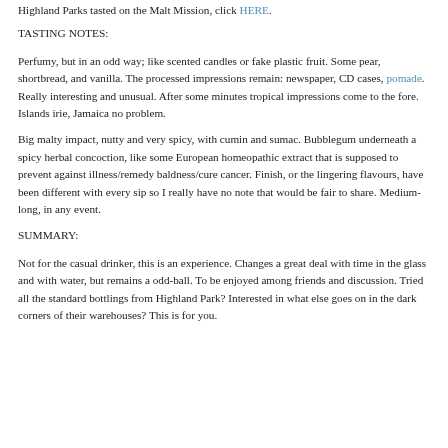Highland Parks tasted on the Malt Mission, click HERE.
TASTING NOTES:
Perfumy, but in an odd way; like scented candles or fake plastic fruit. Some pear, shortbread, and vanilla. The processed impressions remain: newspaper, CD cases, pomade. Really interesting and unusual. After some minutes tropical impressions come to the fore. Islands irie, Jamaica no problem.
Big malty impact, nutty and very spicy, with cumin and sumac. Bubblegum underneath a spicy herbal concoction, like some European homeopathic extract that is supposed to prevent against illness/remedy baldness/cure cancer. Finish, or the lingering flavours, have been different with every sip so I really have no note that would be fair to share. Medium-long, in any event.
SUMMARY:
Not for the casual drinker, this is an experience. Changes a great deal with time in the glass and with water, but remains a odd-ball. To be enjoyed among friends and discussion. Tried all the standard bottlings from Highland Park? Interested in what else goes on in the dark corners of their warehouses? This is for you.